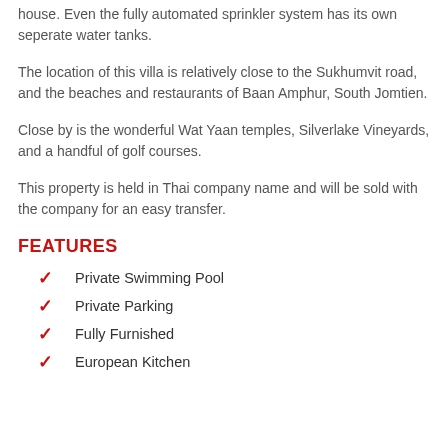house. Even the fully automated sprinkler system has its own seperate water tanks.
The location of this villa is relatively close to the Sukhumvit road, and the beaches and restaurants of Baan Amphur, South Jomtien.
Close by is the wonderful Wat Yaan temples, Silverlake Vineyards, and a handful of golf courses.
This property is held in Thai company name and will be sold with the company for an easy transfer.
FEATURES
Private Swimming Pool
Private Parking
Fully Furnished
European Kitchen